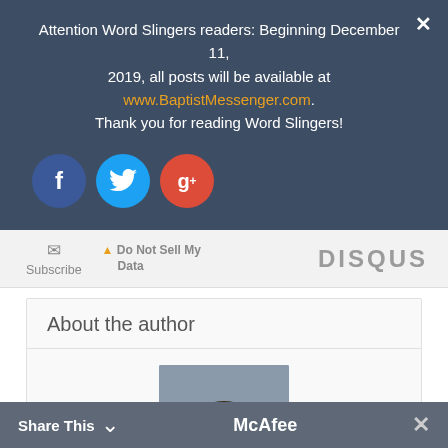Attention Word Slingers readers: Beginning December 11, 2019, all posts will be available at www.BaptistMessenger.com. Thank you for reading Word Slingers!
[Figure (illustration): Social media icons: Facebook (blue circle with f), Twitter (cyan circle with bird), Google+ (red circle with g+)]
Subscribe
Do Not Sell My Data
DISQUS
About the author
[Figure (photo): Professional headshot of a young man wearing a blue suit and dark tie, smiling, against a blurred background]
Share This McAfee